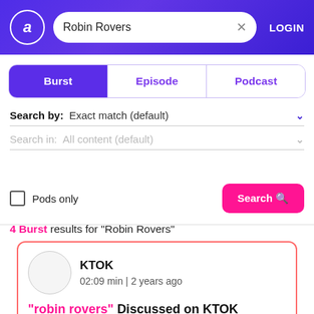Robin Rovers search | LOGIN
[Figure (screenshot): Tab bar with three tabs: Burst (active, purple), Episode, Podcast]
Search by: Exact match (default)
Search in: All content (default)
Pods only  Search
4 Burst results for "Robin Rovers"
KTOK
02:09 min | 2 years ago
"robin rovers" Discussed on KTOK